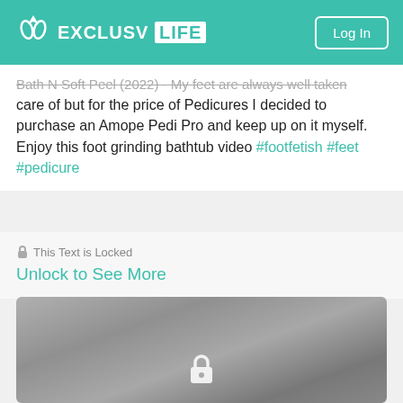EXCLUSV LIFE | Log In
Bath N Soft Peel (2022) - My feet are always well taken care of but for the price of Pedicures I decided to purchase an Amope Pedi Pro and keep up on it myself. Enjoy this foot grinding bathtub video #footfetish #feet #pedicure
🔒 This Text is Locked
Unlock to See More
[Figure (photo): Blurred/locked video thumbnail showing a bathtub scene with a lock icon overlay at the bottom center]